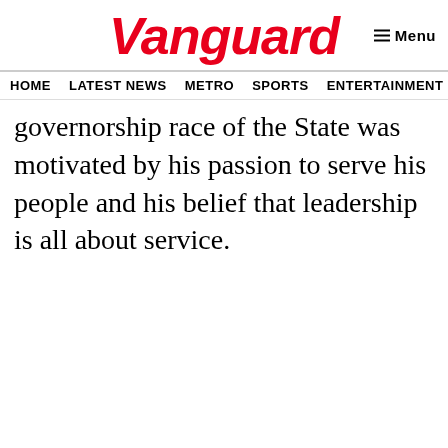Vanguard
HOME  LATEST NEWS  METRO  SPORTS  ENTERTAINMENT  VIDEOS
governorship race of the State was motivated by his passion to serve his people and his belief that leadership is all about service.